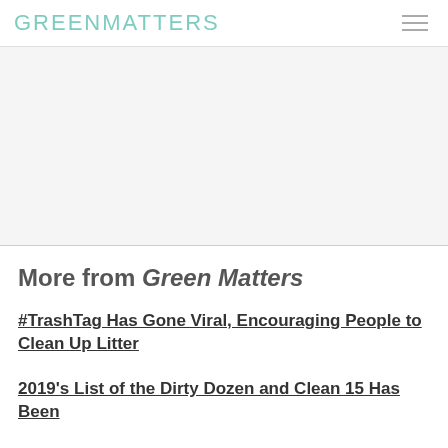GREENMATTERS
[Figure (other): Advertisement / blank white area below header]
More from Green Matters
#TrashTag Has Gone Viral, Encouraging People to Clean Up Litter
2019's List of the Dirty Dozen and Clean 15 Has Been